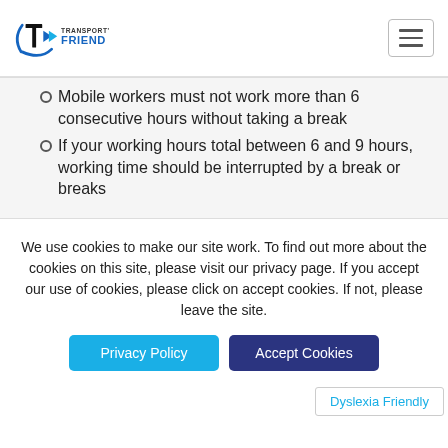Transport's Friend
Mobile workers must not work more than 6 consecutive hours without taking a break
If your working hours total between 6 and 9 hours, working time should be interrupted by a break or breaks
We use cookies to make our site work. To find out more about the cookies on this site, please visit our privacy page. If you accept our use of cookies, please click on accept cookies. If not, please leave the site.
Privacy Policy | Accept Cookies
Dyslexia Friendly